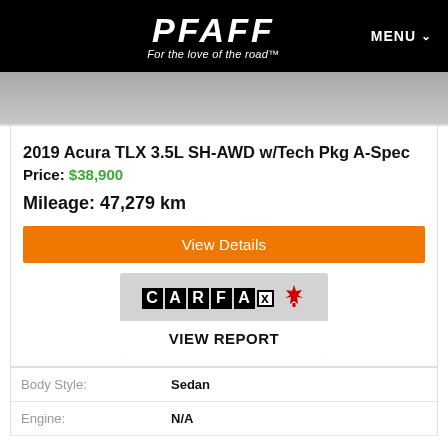PFAFF - For the love of the road™ | MENU
[Figure (photo): Partial view of a car (grey/silver vehicle, cropped)]
2019 Acura TLX 3.5L SH-AWD w/Tech Pkg A-Spec
Price: $38,900
Mileage: 47,279 km
View Details
[Figure (logo): CARFAX Canada logo with maple leaf]
VIEW REPORT
| Body Style: | Sedan |
| Engine: | N/A |